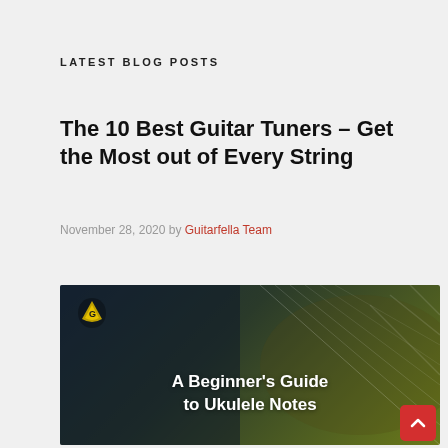LATEST BLOG POSTS
The 10 Best Guitar Tuners – Get the Most out of Every String
November 28, 2020 by Guitarfella Team
[Figure (illustration): Guitarfella branded image showing a ukulele/guitar with strings against a dark blue-to-olive gradient background, with text overlay reading 'A Beginner's Guide to Ukulele Notes' and the Guitarfella logo in the top-left corner.]